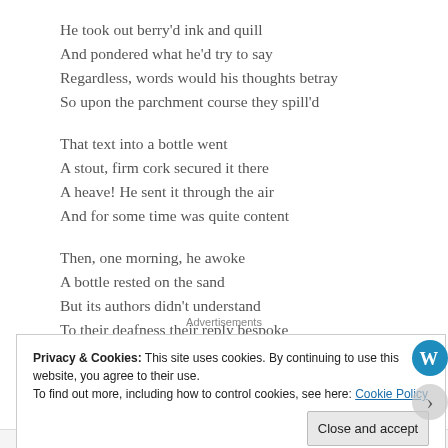He took out berry'd ink and quill
And pondered what he'd try to say
Regardless, words would his thoughts betray
So upon the parchment course they spill'd

That text into a bottle went
A stout, firm cork secured it there
A heave! He sent it through the air
And for some time was quite content

Then, one morning, he awoke
A bottle rested on the sand
But its authors didn't understand
To their deafness their reply bespoke
Advertisements
Privacy & Cookies: This site uses cookies. By continuing to use this website, you agree to their use.
To find out more, including how to control cookies, see here: Cookie Policy
Close and accept
WEBSITE TAG